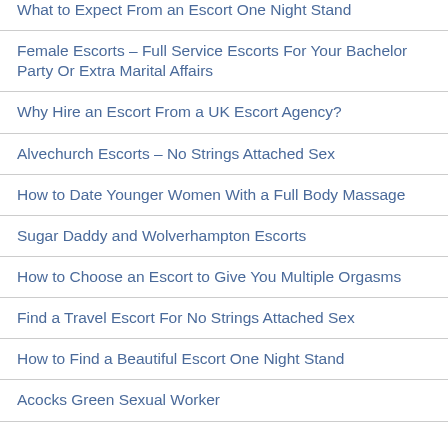What to Expect From an Escort One Night Stand
Female Escorts – Full Service Escorts For Your Bachelor Party Or Extra Marital Affairs
Why Hire an Escort From a UK Escort Agency?
Alvechurch Escorts – No Strings Attached Sex
How to Date Younger Women With a Full Body Massage
Sugar Daddy and Wolverhampton Escorts
How to Choose an Escort to Give You Multiple Orgasms
Find a Travel Escort For No Strings Attached Sex
How to Find a Beautiful Escort One Night Stand
Acocks Green Sexual Worker